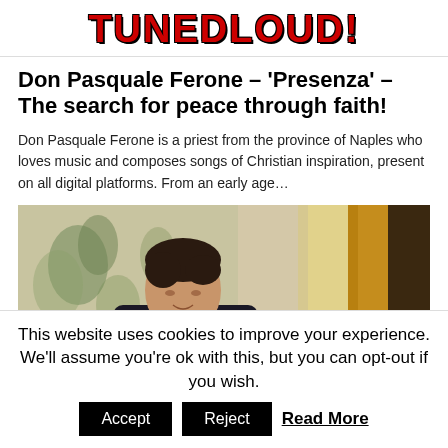TUNEDLOUD!
Don Pasquale Ferone – 'Presenza' – The search for peace through faith!
Don Pasquale Ferone is a priest from the province of Naples who loves music and composes songs of Christian inspiration, present on all digital platforms. From an early age…
[Figure (photo): Man in dark blazer and white shirt looking upward, with floral wallpaper and golden curtain in background]
This website uses cookies to improve your experience. We'll assume you're ok with this, but you can opt-out if you wish. Accept Reject Read More